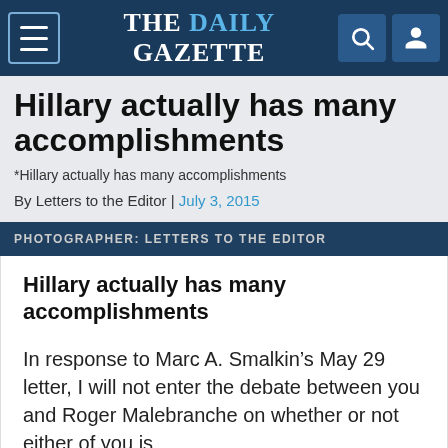THE DAILY GAZETTE
Hillary actually has many accomplishments
*Hillary actually has many accomplishments
By Letters to the Editor | July 3, 2015
PHOTOGRAPHER: LETTERS TO THE EDITOR
Hillary actually has many accomplishments
In response to Marc A. Smalkin’s May 29 letter, I will not enter the debate between you and Roger Malebranche on whether or not either of you is